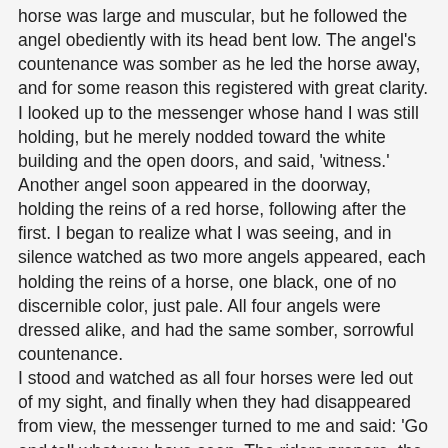horse was large and muscular, but he followed the angel obediently with its head bent low. The angel's countenance was somber as he led the horse away, and for some reason this registered with great clarity. I looked up to the messenger whose hand I was still holding, but he merely nodded toward the white building and the open doors, and said, 'witness.' Another angel soon appeared in the doorway, holding the reins of a red horse, following after the first. I began to realize what I was seeing, and in silence watched as two more angels appeared, each holding the reins of a horse, one black, one of no discernible color, just pale. All four angels were dressed alike, and had the same somber, sorrowful countenance. I stood and watched as all four horses were led out of my sight, and finally when they had disappeared from view, the messenger turned to me and said: 'Go and tell what you have seen. The riders prepare, the horses are ready, and soon they will descend, soon they will be loosed. Remember what you have witnessed, and do not hold back a single word. Soon they descend on wings of fury; soon turmoil will shake earth's very foundation.